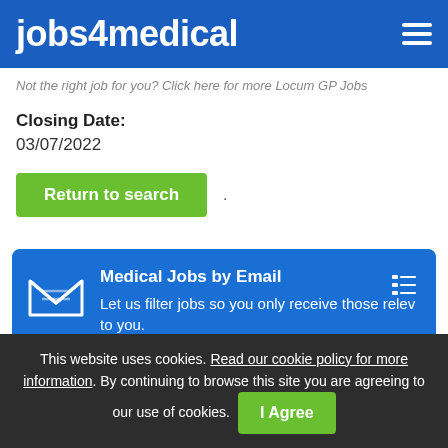jobs4medical
Not the right job for you? Click here for more Locum GP Jobs
Closing Date:
03/07/2022
Return to search
[Figure (infographic): Blue banner with email icon, title 'Medical Jobs by Email', and description text 'Let us filter jobs so you only receive those relevant to you.']
Featured Jobs
This website uses cookies. Read our cookie policy for more information. By continuing to browse this site you are agreeing to our use of cookies. I Agree